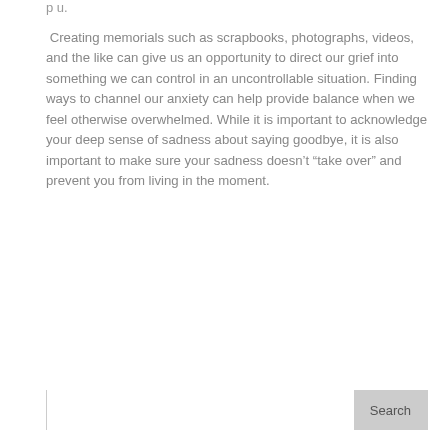p u.
Creating memorials such as scrapbooks, photographs, videos, and the like can give us an opportunity to direct our grief into something we can control in an uncontrollable situation. Finding ways to channel our anxiety can help provide balance when we feel otherwise overwhelmed. While it is important to acknowledge your deep sense of sadness about saying goodbye, it is also important to make sure your sadness doesn’t “take over” and prevent you from living in the moment.